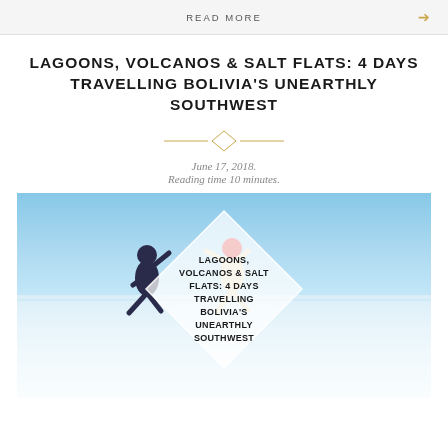READ MORE
LAGOONS, VOLCANOS & SALT FLATS: 4 DAYS TRAVELLING BOLIVIA'S UNEARTHLY SOUTHWEST
June 17, 2018.
Reading time 10 minutes.
[Figure (photo): Two people jumping and holding hands on Bolivia's Uyuni Salt Flat under a bright blue sky, with a diamond-shaped white overlay containing the article title text: LAGOONS, VOLCANOS & SALT FLATS: 4 DAYS TRAVELLING BOLIVIA'S UNEARTHLY SOUTHWEST]